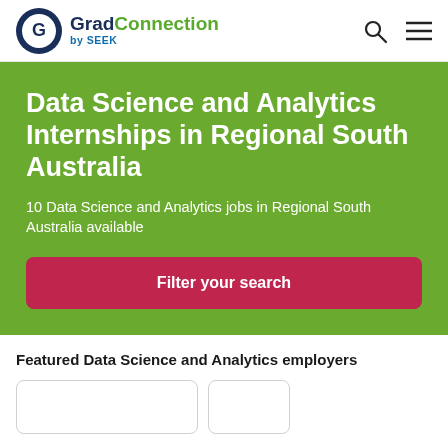[Figure (logo): GradConnection by SEEK logo with circular G icon]
Data Science and Analytics Internships in Regional South Australia
10 Data Science and Analytics jobs in Regional South Australia available
Filter your search
Featured Data Science and Analytics employers